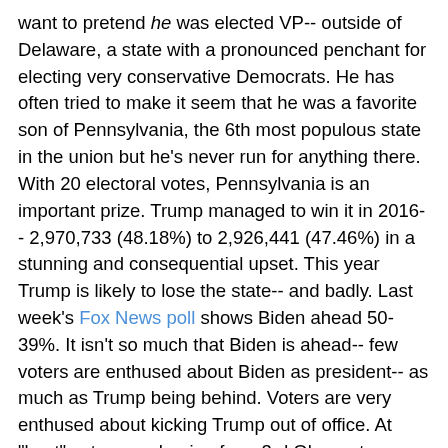want to pretend he was elected VP-- outside of Delaware, a state with a pronounced penchant for electing very conservative Democrats. He has often tried to make it seem that he was a favorite son of Pennsylvania, the 6th most populous state in the union but he's never run for anything there. With 20 electoral votes, Pennsylvania is an important prize. Trump managed to win it in 2016-- 2,970,733 (48.18%) to 2,926,441 (47.46%) in a stunning and consequential upset. This year Trump is likely to lose the state-- and badly. Last week's Fox News poll shows Biden ahead 50-39%. It isn't so much that Biden is ahead-- few voters are enthused about Biden as president-- as much as Trump being behind. Voters are very enthused about kicking Trump out of office. At "best" voters are hoping for a 3rd Obama term.
Writing for Newsweek yesterday, Chantal Da Silva reported that most people in Pennsylvania who have decided to vote for Biden are actually voting against Trump, not actually for Biden... and that's a state he claims a solid connection to. A new poll from Franklin & Marshall College "found that 55 percent of Biden backers were motivated to vote for the former vice president so they could see Trump unseated.